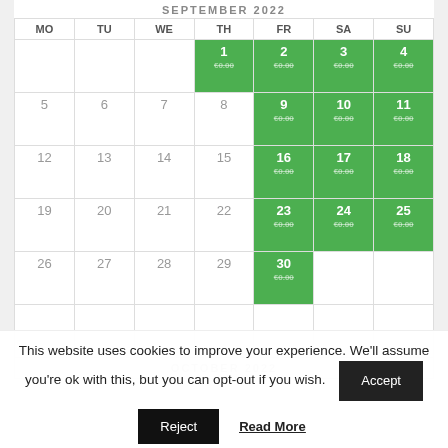| MO | TU | WE | TH | FR | SA | SU |
| --- | --- | --- | --- | --- | --- | --- |
|  |  |  | 1 | 2 | 3 | 4 |
| 5 | 6 | 7 | 8 | 9 | 10 | 11 |
| 12 | 13 | 14 | 15 | 16 | 17 | 18 |
| 19 | 20 | 21 | 22 | 23 | 24 | 25 |
| 26 | 27 | 28 | 29 | 30 |  |  |
|  |  |  |  |  |  |  |
SEPTEMBER 2022
OCTOBER 2022
This website uses cookies to improve your experience. We'll assume you're ok with this, but you can opt-out if you wish.
Accept
Reject
Read More